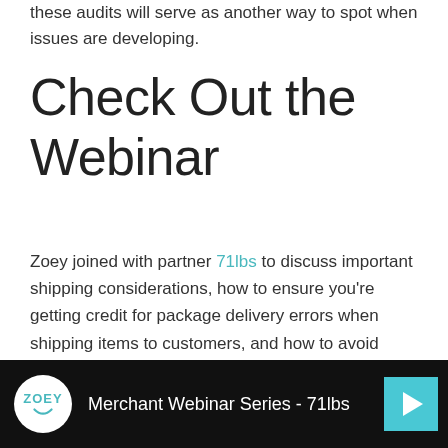these audits will serve as another way to spot when issues are developing.
Check Out the Webinar
Zoey joined with partner 71lbs to discuss important shipping considerations, how to ensure you're getting credit for package delivery errors when shipping items to customers, and how to avoid overpaying for shipping.
[Figure (screenshot): Video thumbnail showing Zoey and 71lbs Merchant Webinar Series with Zoey logo on black background and teal play button]